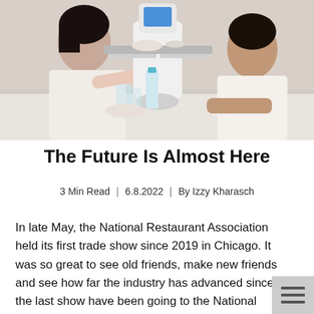[Figure (photo): A woman and a boy sitting at a restaurant table being served by a robot waiter carrying dishes on a tray. A water bottle and bowls are on the table.]
The Future Is Almost Here
3 Min Read  |  6.8.2022  |  By Izzy Kharasch
In late May, the National Restaurant Association held its first trade show since 2019 in Chicago. It was so great to see old friends, make new friends and see how far the industry has advanced since the last show have been going to the National Restaurant